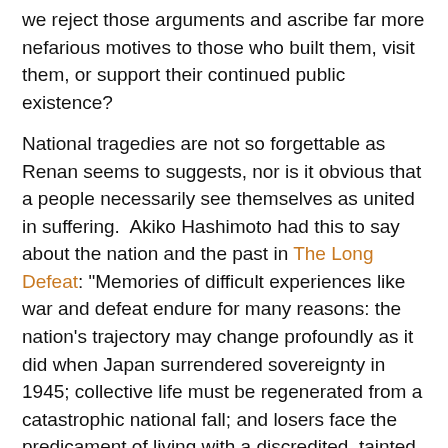we reject those arguments and ascribe far more nefarious motives to those who built them, visit them, or support their continued public existence?
National tragedies are not so forgettable as Renan seems to suggests, nor is it obvious that a people necessarily see themselves as united in suffering.  Akiko Hashimoto had this to say about the nation and the past in The Long Defeat: "Memories of difficult experiences like war and defeat endure for many reasons: the nation's trajectory may change profoundly as it did when Japan surrendered sovereignty in 1945; collective life must be regenerated from a catastrophic national fall; and losers face the predicament of living with a discredited, tainted past." May I suggest that if people perceive that those are the stakes, then efforts to explore the past together in order to come to a place where there is that desire to move on together will be a Sisyphean task.  Because anything that smacks of Sin without the possibility of compassion and redemption leaves people with nowhere to go but Hell (in which case they will fight like devils just to get into Purgatory.)
I think the world...